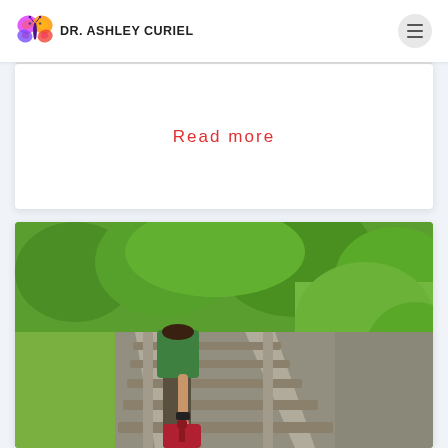DR. ASHLEY CURIEL
Read more
[Figure (photo): Person walking on railway tracks holding a red suitcase, surrounded by green trees and vegetation. Viewed from behind showing jeans, green top, and watch.]